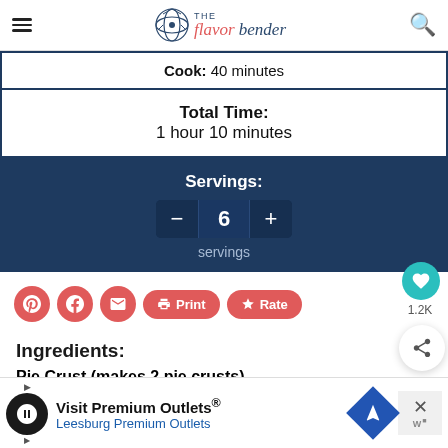The Flavor Bender
Cook: 40 minutes
Total Time: 1 hour 10 minutes
Servings: 6 servings
[Figure (screenshot): Social share buttons: Pinterest, Facebook, Email, Print, Rate]
Ingredients:
Pie Crust (makes 2 pie crusts)
8 oz unsalted butter, 2 sticks
[Figure (screenshot): Advertisement: Visit Premium Outlets - Leesburg Premium Outlets]